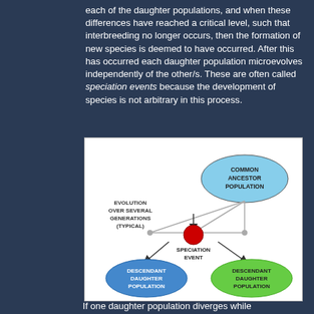each of the daughter populations, and when these differences have reached a critical level, such that interbreeding no longer occurs, then the formation of new species is deemed to have occurred. After this has occurred each daughter population microevolves independently of the other/s. These are often called speciation events because the development of species is not arbitrary in this process.
[Figure (flowchart): Diagram showing speciation event: Common Ancestor Population at top right (blue ellipse), connected via lines through a Speciation Event (red circle in center), leading to two descendant daughter populations at bottom — one blue (left) and one green (right). Label 'EVOLUTION OVER SEVERAL GENERATIONS (TYPICAL)' appears on the left side.]
If one daughter population diverges while